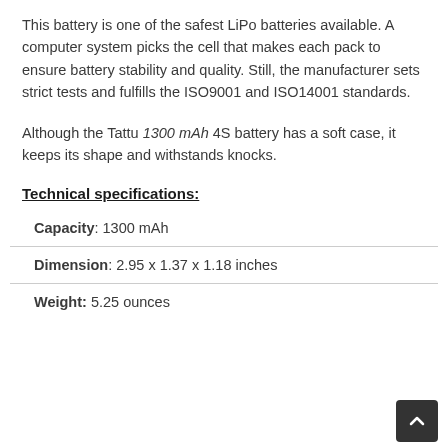This battery is one of the safest LiPo batteries available. A computer system picks the cell that makes each pack to ensure battery stability and quality. Still, the manufacturer sets strict tests and fulfills the ISO9001 and ISO14001 standards.
Although the Tattu 1300 mAh 4S battery has a soft case, it keeps its shape and withstands knocks.
Technical specifications:
| Capacity: 1300 mAh |
| Dimension: 2.95 x 1.37 x 1.18 inches |
| Weight: 5.25 ounces |